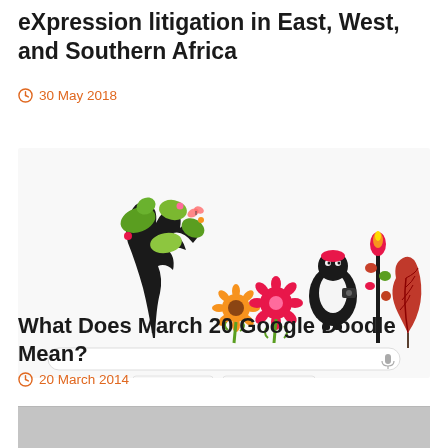eXpression litigation in East, West, and Southern Africa
30 May 2018
[Figure (screenshot): Google Doodle screenshot showing decorative floral/nature themed illustration with a tree, sunflower, flowers, a bird figure, a torch-like plant, and a red leaf, along with the Google search bar and buttons 'Google Search' and 'I'm Feeling Lucky']
What Does March 20 Google Doodle Mean?
20 March 2014
[Figure (photo): Partially visible image at the bottom of the page, appears to be a photograph]